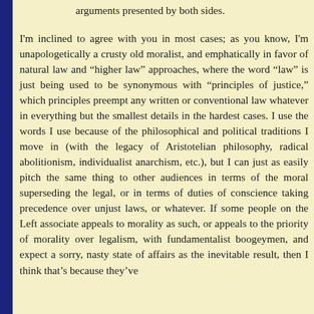arguments presented by both sides.
I'm inclined to agree with you in most cases; as you know, I'm unapologetically a crusty old moralist, and emphatically in favor of natural law and “higher law” approaches, where the word “law” is just being used to be synonymous with “principles of justice,” which principles preempt any written or conventional law whatever in everything but the smallest details in the hardest cases. I use the words I use because of the philosophical and political traditions I move in (with the legacy of Aristotelian philosophy, radical abolitionism, individualist anarchism, etc.), but I can just as easily pitch the same thing to other audiences in terms of the moral superseding the legal, or in terms of duties of conscience taking precedence over unjust laws, or whatever. If some people on the Left associate appeals to morality as such, or appeals to the priority of morality over legalism, with fundamentalist boogeymen, and expect a sorry, nasty state of affairs as the inevitable result, then I think that’s because they’ve